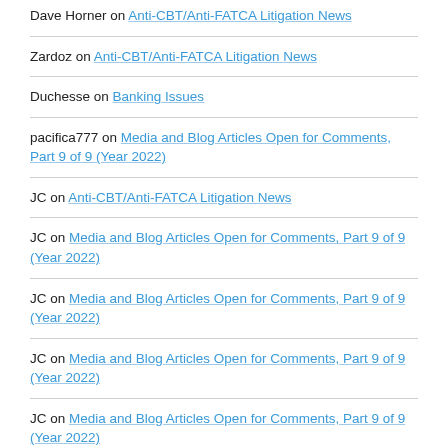Dave Horner on Anti-CBT/Anti-FATCA Litigation News
Zardoz on Anti-CBT/Anti-FATCA Litigation News
Duchesse on Banking Issues
pacifica777 on Media and Blog Articles Open for Comments, Part 9 of 9 (Year 2022)
JC on Anti-CBT/Anti-FATCA Litigation News
JC on Media and Blog Articles Open for Comments, Part 9 of 9 (Year 2022)
JC on Media and Blog Articles Open for Comments, Part 9 of 9 (Year 2022)
JC on Media and Blog Articles Open for Comments, Part 9 of 9 (Year 2022)
JC on Media and Blog Articles Open for Comments, Part 9 of 9 (Year 2022)